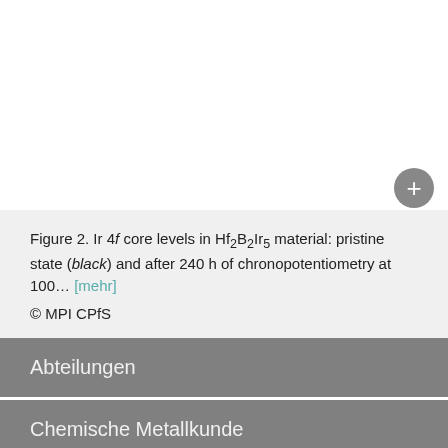Figure 2. Ir 4f core levels in Hf2B2Ir5 material: pristine state (black) and after 240 h of chronopotentiometry at 100… [mehr] © MPI CPfS
Abteilungen
Chemische Metallkunde
Physik korrelierter Materie